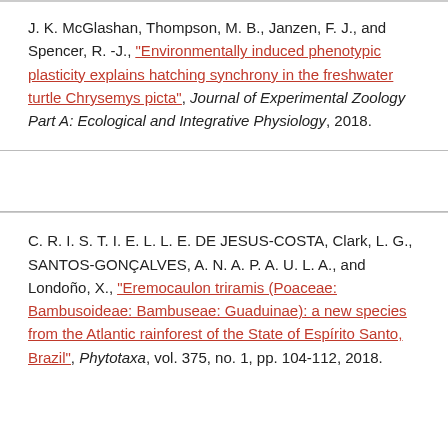J. K. McGlashan, Thompson, M. B., Janzen, F. J., and Spencer, R. -J., "Environmentally induced phenotypic plasticity explains hatching synchrony in the freshwater turtle Chrysemys picta", Journal of Experimental Zoology Part A: Ecological and Integrative Physiology, 2018.
C. R. I. S. T. I. E. L. L. E. DE JESUS-COSTA, Clark, L. G., SANTOS-GONÇALVES, A. N. A. P. A. U. L. A., and Londoño, X., "Eremocaulon triramis (Poaceae: Bambusoideae: Bambuseae: Guaduinae): a new species from the Atlantic rainforest of the State of Espírito Santo, Brazil", Phytotaxa, vol. 375, no. 1, pp. 104-112, 2018.